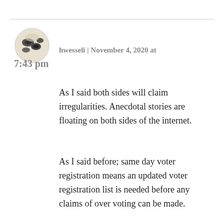[Figure (photo): Circular avatar image of a user profile photo showing birds on a light background]
hwesseli | November 4, 2020 at 7:43 pm
As I said both sides will claim irregularities. Anecdotal stories are floating on both sides of the internet.
As I said before; same day voter registration means an updated voter registration list is needed before any claims of over voting can be made.